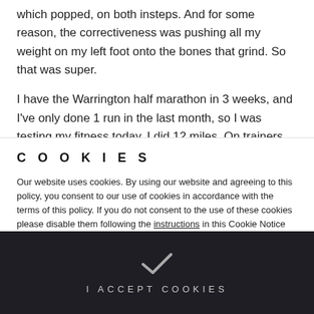which popped, on both insteps. And for some reason, the correctiveness was pushing all my weight on my left foot onto the bones that grind. So that was super.
I have the Warrington half marathon in 3 weeks, and I've only done 1 run in the last month, so I was testing my fitness today. I did 12 miles. On trainers straight out of the box. And the socket was continuing on. So maybe...
C O O K I E S
Our website uses cookies. By using our website and agreeing to this policy, you consent to our use of cookies in accordance with the terms of this policy. If you do not consent to the use of these cookies please disable them following the instructions in this Cookie Notice so that cookies from this website cannot be placed on your device.
I ACCEPT COOKIES